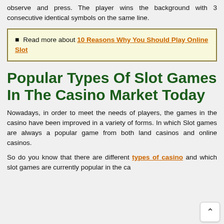observe and press. The player wins the background with 3 consecutive identical symbols on the same line.
Read more about 10 Reasons Why You Should Play Online Slot
Popular Types Of Slot Games In The Casino Market Today
Nowadays, in order to meet the needs of players, the games in the casino have been improved in a variety of forms. In which Slot games are always a popular game from both land casinos and online casinos.
So do you know that there are different types of casino and which slot games are currently popular in the casino